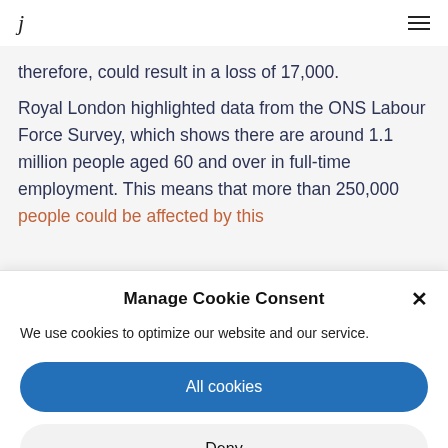j ≡
therefore, could result in a loss of 17,000.
Royal London highlighted data from the ONS Labour Force Survey, which shows there are around 1.1 million people aged 60 and over in full-time employment. This means that more than 250,000 people could be affected by this
Manage Cookie Consent
We use cookies to optimize our website and our service.
All cookies
Deny